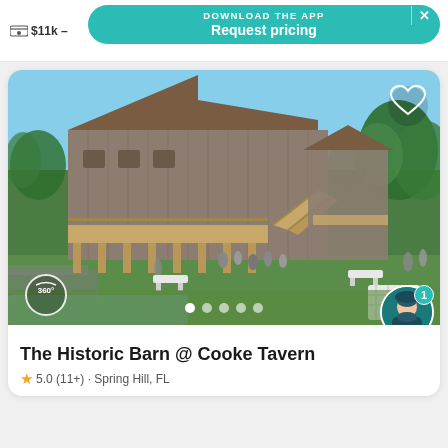$11k –
DOWNLOAD THE APP
Request pricing
[Figure (photo): Outdoor photo of The Historic Barn @ Cooke Tavern, a large rustic wooden barn with brown roof, elevated on wooden pillars with a staircase on the right side, surrounded by green grass and trees, with people visible near the entrance. Clear blue sky in the background.]
The Historic Barn @ Cooke Tavern
5.0 (11+) · Spring Hill, FL